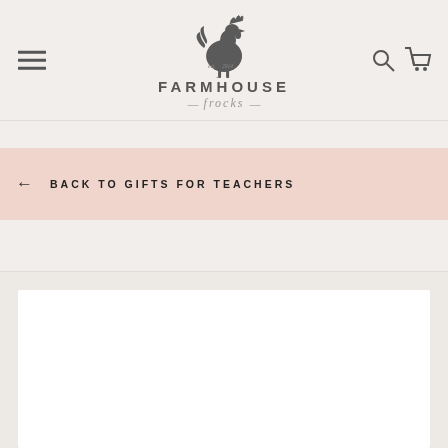Farmhouse Frocks — Navigation header with logo, hamburger menu, search and cart icons
← BACK TO GIFTS FOR TEACHERS
[Figure (other): Product card area, white rectangle on beige background, partially visible]